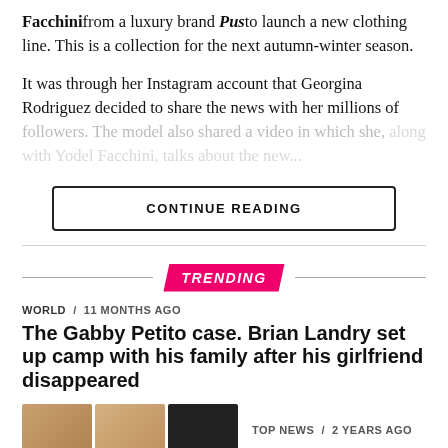Facchini from a luxury brand Pust o launch a new clothing line. This is a collection for the next autumn-winter season.
It was through her Instagram account that Georgina Rodriguez decided to share the news with her millions of followers. The model also shared a video in which she, along with Yodel Facchini, talks about the new...
CONTINUE READING
TRENDING
WORLD / 11 months ago
The Gabby Petito case. Brian Landry set up camp with his family after his girlfriend disappeared
TOP NEWS / 2 years ago